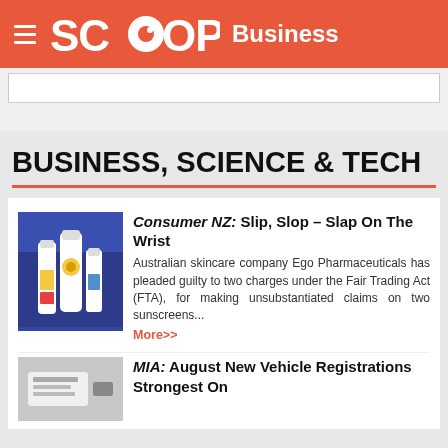SCOOP Business
BUSINESS, SCIENCE & TECH
Consumer NZ: Slip, Slop – Slap On The Wrist
Australian skincare company Ego Pharmaceuticals has pleaded guilty to two charges under the Fair Trading Act (FTA), for making unsubstantiated claims on two sunscreens... More>>
MIA: August New Vehicle Registrations Strongest On